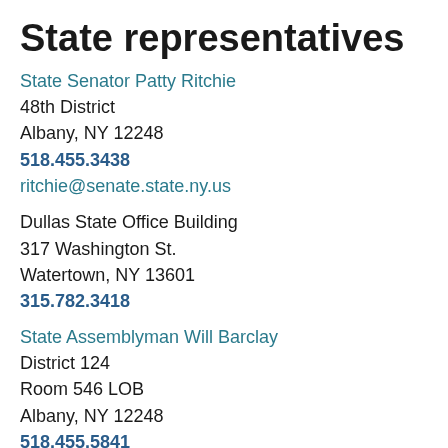State representatives
State Senator Patty Ritchie
48th District
Albany, NY 12248
518.455.3438
ritchie@senate.state.ny.us

Dullas State Office Building
317 Washington St.
Watertown, NY 13601
315.782.3418

State Assemblyman Will Barclay
District 124
Room 546 LOB
Albany, NY 12248
518.455.5841